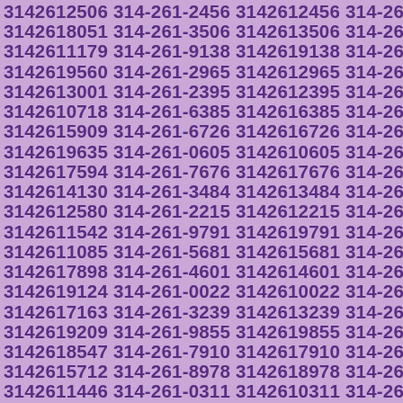3142612506 314-261-2456 3142612456 314-261-6051 3142618051 314-261-3506 3142613506 314-261-1179 3142611179 314-261-9138 3142619138 314-261-9560 3142619560 314-261-2965 3142612965 314-261-3001 3142613001 314-261-2395 3142612395 314-261-0718 3142610718 314-261-6385 3142616385 314-261-5909 3142615909 314-261-6726 3142616726 314-261-9635 3142619635 314-261-0605 3142610605 314-261-7594 3142617594 314-261-7676 3142617676 314-261-4130 3142614130 314-261-3484 3142613484 314-261-2580 3142612580 314-261-2215 3142612215 314-261-1542 3142611542 314-261-9791 3142619791 314-261-1085 3142611085 314-261-5681 3142615681 314-261-7898 3142617898 314-261-4601 3142614601 314-261-9124 3142619124 314-261-0022 3142610022 314-261-7163 3142617163 314-261-3239 3142613239 314-261-9209 3142619209 314-261-9855 3142619855 314-261-8547 3142618547 314-261-7910 3142617910 314-261-5712 3142615712 314-261-8978 3142618978 314-261-1446 3142611446 314-261-0311 3142610311 314-261-3897 3142613897 314-261-0540 3142610540 314-261-2495